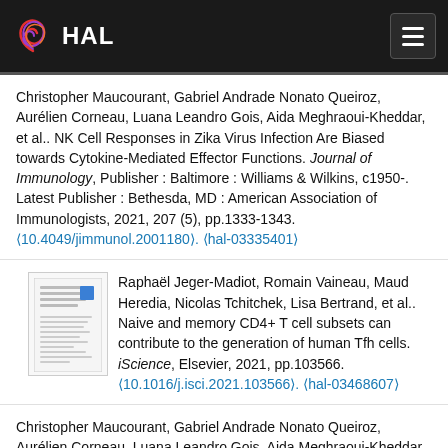HAL
Christopher Maucourant, Gabriel Andrade Nonato Queiroz, Aurélien Corneau, Luana Leandro Gois, Aida Meghraoui-Kheddar, et al.. NK Cell Responses in Zika Virus Infection Are Biased towards Cytokine-Mediated Effector Functions. Journal of Immunology, Publisher : Baltimore : Williams & Wilkins, c1950-. Latest Publisher : Bethesda, MD : American Association of Immunologists, 2021, 207 (5), pp.1333-1343. ⟨10.4049/jimmunol.2001180⟩. ⟨hal-03335401⟩
[Figure (other): Thumbnail of a document/paper preview with text lines and a small blue square element]
Raphaël Jeger-Madiot, Romain Vaineau, Maud Heredia, Nicolas Tchitchek, Lisa Bertrand, et al.. Naive and memory CD4+ T cell subsets can contribute to the generation of human Tfh cells. iScience, Elsevier, 2021, pp.103566. ⟨10.1016/j.isci.2021.103566⟩. ⟨hal-03468607⟩
Christopher Maucourant, Gabriel Andrade Nonato Queiroz, Aurélien Corneau, Luana Leandro Gois, Aida Meghraoui-Kheddar, et al.. NK Cell Responses in Zika Virus Infection Are Biased towards Cytokine-Mediated Effector Functions. Journal